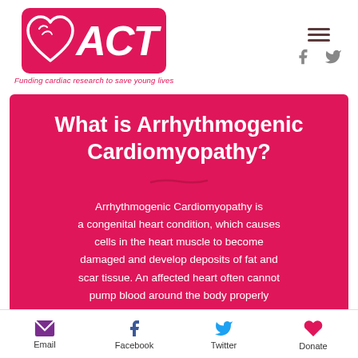[Figure (logo): ACT charity logo with heart graphic and text 'ACT' on pink/red background, tagline: 'Funding cardiac research to save young lives']
What is Arrhythmogenic Cardiomyopathy?
Arrhythmogenic Cardiomyopathy is a congenital heart condition, which causes cells in the heart muscle to become damaged and develop deposits of fat and scar tissue. An affected heart often cannot pump blood around the body properly when the muscle is put under stress, for
Email  Facebook  Twitter  Donate